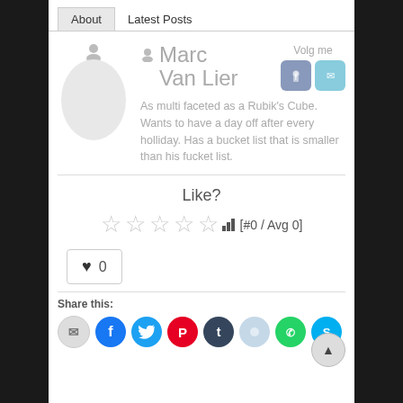About | Latest Posts
Marc Van Lier
As multi faceted as a Rubik's Cube. Wants to have a day off after every holliday. Has a bucket list that is smaller than his fucket list.
Volg me
Like?
[#0 / Avg 0]
0
Share this: